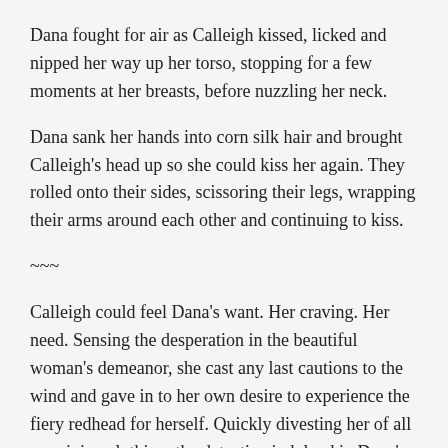Dana fought for air as Calleigh kissed, licked and nipped her way up her torso, stopping for a few moments at her breasts, before nuzzling her neck.
Dana sank her hands into corn silk hair and brought Calleigh's head up so she could kiss her again. They rolled onto their sides, scissoring their legs, wrapping their arms around each other and continuing to kiss.
~~~
Calleigh could feel Dana's want. Her craving. Her need. Sensing the desperation in the beautiful woman's demeanor, she cast any last cautions to the wind and gave in to her own desire to experience the fiery redhead for herself. Quickly divesting her of all remaining clothing, the detective indulged in Dana's sweet arousal, reveling in the elicited responses from her muscles and her voice. Ensuring that she had drawn the doctor's pleasure out as long as possible, the blonde slowly made her way back up the lean body beneath her, capturing the set of panting